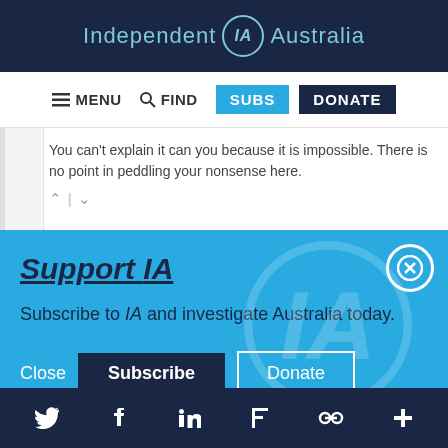Independent IA Australia
MENU  FIND  SUBS  DONATE
You can't explain it can you because it is impossible. There is no point in peddling your nonsense here.
Support IA
Subscribe to IA and investigate Australia today.
Twitter  Facebook  LinkedIn  Flipboard  Link  Plus